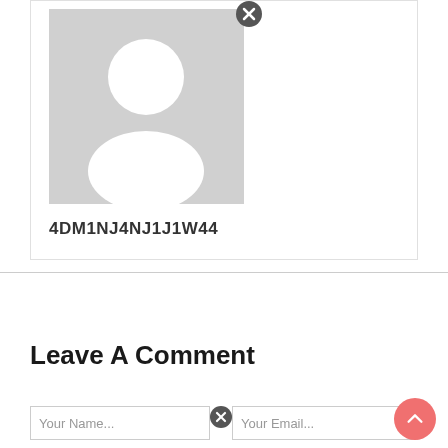[Figure (illustration): Gray placeholder avatar image showing silhouette of a person (head and shoulders) on a light gray background]
4DM1NJ4NJ1J1W44
Leave A Comment
[Figure (screenshot): Input form fields partially visible at bottom with close (X) icon and placeholder text for Your Name and Your Email]